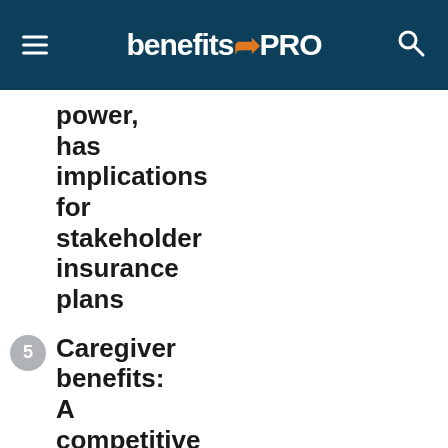benefitsPRO
power, has implications for stakeholder insurance plans
5. Caregiver benefits: A competitive advantage that can help make a difference